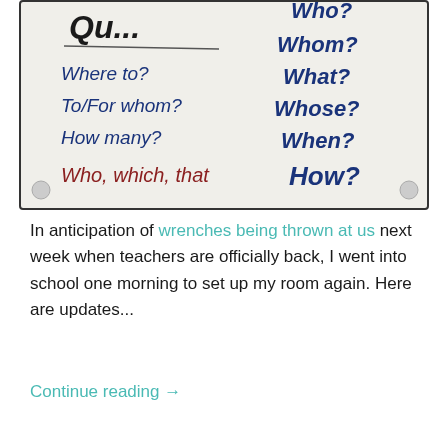[Figure (photo): A whiteboard or poster showing question words in handwritten text. Left column: 'Qu...' underlined at top, then 'Where to?', 'To/For whom?', 'How many?', 'Who, which, that'. Right column: 'Who?', 'Whom?', 'What?', 'Whose?', 'When?', 'How?'. Written in blue and dark red marker.]
In anticipation of wrenches being thrown at us next week when teachers are officially back, I went into school one morning to set up my room again. Here are updates...
Continue reading →